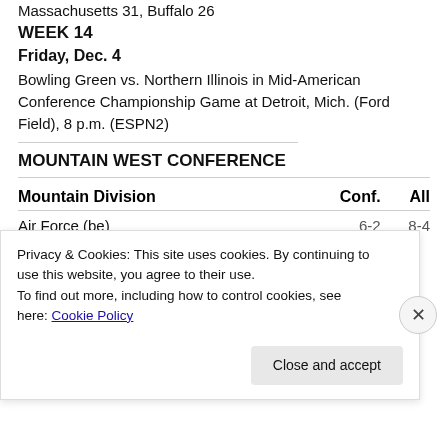Massachusetts 31, Buffalo 26
WEEK 14
Friday, Dec. 4
Bowling Green vs. Northern Illinois in Mid-American Conference Championship Game at Detroit, Mich. (Ford Field), 8 p.m. (ESPN2)
MOUNTAIN WEST CONFERENCE
| Mountain Division | Conf. | All |
| --- | --- | --- |
| Air Force (be) | 6-2 | 8-4 |
Privacy & Cookies: This site uses cookies. By continuing to use this website, you agree to their use.
To find out more, including how to control cookies, see here: Cookie Policy